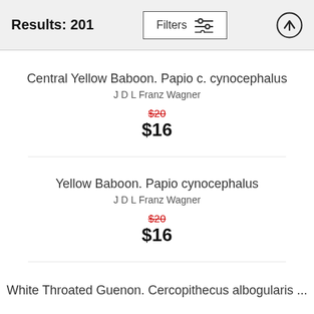Results: 201
Central Yellow Baboon. Papio c. cynocephalus
J D L Franz Wagner
$20
$16
Yellow Baboon. Papio cynocephalus
J D L Franz Wagner
$20
$16
White Throated Guenon. Cercopithecus albogularis ...